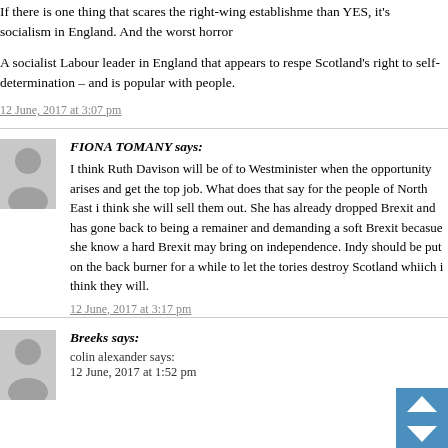If there is one thing that scares the right-wing establishment more than YES, it's socialism in England. And the worst horror...
A socialist Labour leader in England that appears to respect Scotland's right to self-determination – and is popular with people.
12 June, 2017 at 3:07 pm
FIONA TOMANY says:
I think Ruth Davison will be of to Westminister when the opportunity arises and get the top job. What does that say for the people of North East i think she will sell them out. She has already dropped Brexit and has gone back to being a remainer and demanding a soft Brexit becasue she know a hard Brexit may bring on independence. Indy should be put on the back burner for a while to let the tories destroy Scotland whiich i think they will.
12 June, 2017 at 3:17 pm
Breeks says:
colin alexander says:
12 June, 2017 at 1:52 pm